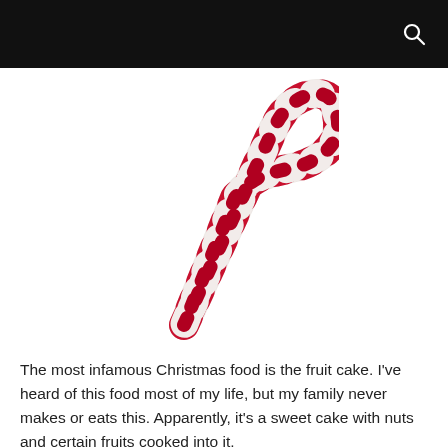[Figure (photo): A red and white striped candy cane on a white background, photographed diagonally with the hook at the upper right.]
The most infamous Christmas food is the fruit cake. I've heard of this food most of my life, but my family never makes or eats this. Apparently, it's a sweet cake with nuts and certain fruits cooked into it.